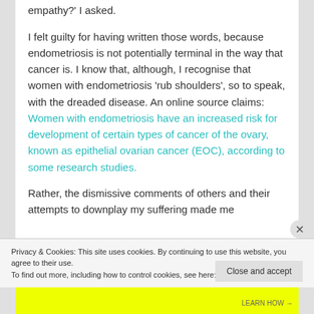empathy?' I asked.
I felt guilty for having written those words, because endometriosis is not potentially terminal in the way that cancer is. I know that, although, I recognise that women with endometriosis 'rub shoulders', so to speak, with the dreaded disease. An online source claims: Women with endometriosis have an increased risk for development of certain types of cancer of the ovary, known as epithelial ovarian cancer (EOC), according to some research studies.
Rather, the dismissive comments of others and their attempts to downplay my suffering made me
Privacy & Cookies: This site uses cookies. By continuing to use this website, you agree to their use.
To find out more, including how to control cookies, see here: Cookie Policy